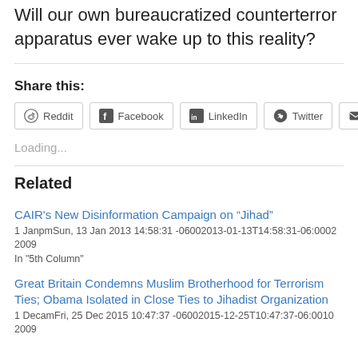Will our own bureaucratized counterterror apparatus ever wake up to this reality?
Share this:
Reddit Facebook LinkedIn Twitter Email
Loading...
Related
CAIR's New Disinformation Campaign on “Jihad”
1 JanpmSun, 13 Jan 2013 14:58:31 -06002013-01-13T14:58:31-06:0002 2009
In "5th Column"
Great Britain Condemns Muslim Brotherhood for Terrorism Ties; Obama Isolated in Close Ties to Jihadist Organization
1 DecamFri, 25 Dec 2015 10:47:37 -06002015-12-25T10:47:37-06:0010 2009